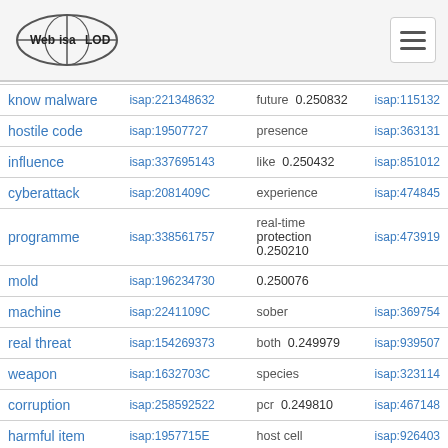Web isa LOD
| term | isap id | related/score | isap id 2 |
| --- | --- | --- | --- |
| know malware | isap:221348632 | future  0.250832 | isap:115132… |
| hostile code | isap:19507727 | presence | isap:363131… |
| influence | isap:337695143 | like  0.250432 | isap:851012… |
| cyberattack | isap:2081409C | experience | isap:474845… |
| programme | isap:338561757 | real-time  0.250210 | isap:473919… |
| mold | isap:196234730 | protection  0.250076 |  |
| machine | isap:2241109C | sober | isap:369754… |
| real threat | isap:154269373 | both  0.249979 | isap:939507… |
| weapon | isap:1632703C | species | isap:323114… |
| corruption | isap:258592522 | pcr  0.249810 | isap:467148… |
| harmful item | isap:1957715E | host cell | isap:926403… |